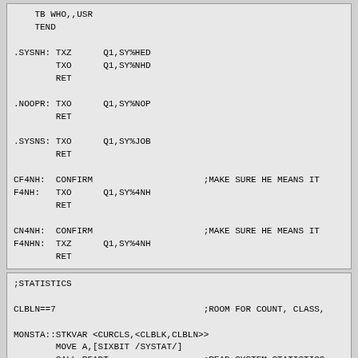TB WHO,,USR
        TEND

.SYSNH: TXZ      Q1,SY%HED
        TXO      Q1,SY%NHD
        RET

.NOOPR: TXO      Q1,SY%NOP
        RET

.SYSNS: TXO      Q1,SY%JOB
        RET

CF4NH:  CONFIRM                          ;MAKE SURE HE MEANS IT
F4NH:   TXO      Q1,SY%4NH
        RET

CN4NH:  CONFIRM                          ;MAKE SURE HE MEANS IT
F4NHN:  TXZ      Q1,SY%4NH
        RET
;STATISTICS

CLBLN==7                                 ;ROOM FOR COUNT, CLASS,

MONSTA::STKVAR <CURCLS,<CLBLK,CLBLN>>
        MOVE A,[SIXBIT /SYSTAT/]
        CALL READT                       ;READ SYSTEM STATISTICS
        FTYPE < Un %K